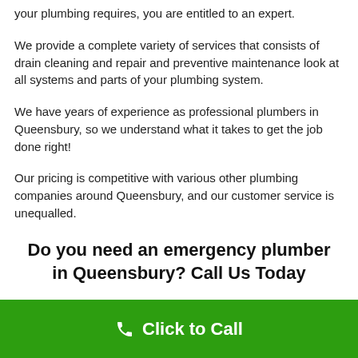your plumbing requires, you are entitled to an expert.
We provide a complete variety of services that consists of drain cleaning and repair and preventive maintenance look at all systems and parts of your plumbing system.
We have years of experience as professional plumbers in Queensbury, so we understand what it takes to get the job done right!
Our pricing is competitive with various other plumbing companies around Queensbury, and our customer service is unequalled.
Do you need an emergency plumber in Queensbury? Call Us Today
Click to Call